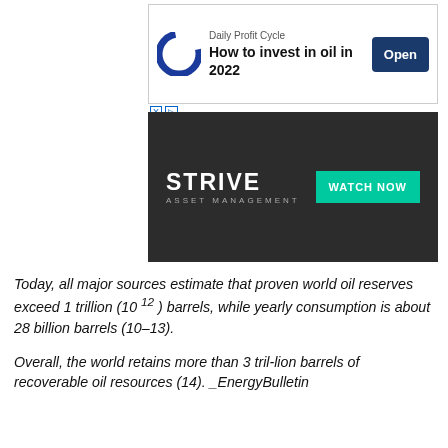[Figure (screenshot): Advertisement banner: Daily Profit Cycle - How to invest in oil in 2022, with Open button]
[Figure (screenshot): Strive Asset Management banner ad with WATCH NOW button on dark background]
Today, all major sources estimate that proven world oil reserves exceed 1 trillion (10 12 ) barrels, while yearly consumption is about 28 billion barrels (10–13).
Overall, the world retains more than 3 tril-lion barrels of recoverable oil resources (14). _EnergyBulletin
North America has seen about a million exploratory oil wells, whereas the oil rich regions of the Persian Gulf have seen only a thousand or two. [S] The planet has barely been explored or surveyed for hydrocarbons.
What we are looking for here are demonstrable or refutable facts, observations, data. We are not looking for authority